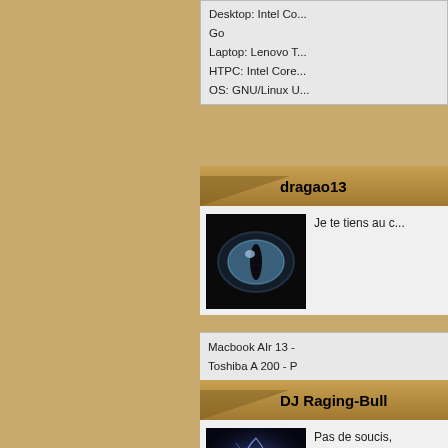Desktop: Intel Co...
Go
Laptop: Lenovo T...
HTPC: Intel Core...
OS: GNU/Linux U...
dragao13
[Figure (photo): Avatar image showing a glowing blue cat/dragon eye on dark background]
Je te tiens au c...
Macbook AIr 13 -
Toshiba A 200 - P
DJ Raging-Bull
[Figure (photo): Avatar image showing blue and purple lightning/plasma abstract art]
Pas de soucis,